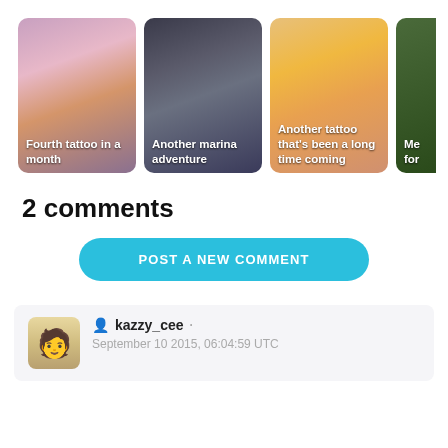[Figure (photo): Row of thumbnail images showing tattoo-related posts: 'Fourth tattoo in a month', 'Another marina adventure', 'Another tattoo that's been a long time coming', and a partially visible fourth card]
2 comments
POST A NEW COMMENT
kazzy_cee · September 10 2015, 06:04:59 UTC